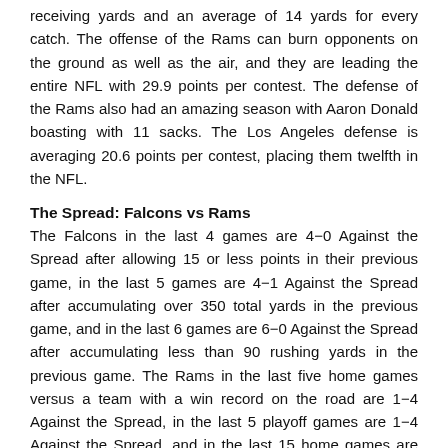receiving yards and an average of 14 yards for every catch. The offense of the Rams can burn opponents on the ground as well as the air, and they are leading the entire NFL with 29.9 points per contest. The defense of the Rams also had an amazing season with Aaron Donald boasting with 11 sacks. The Los Angeles defense is averaging 20.6 points per contest, placing them twelfth in the NFL.
The Spread: Falcons vs Rams
The Falcons in the last 4 games are 4-0 Against the Spread after allowing 15 or less points in their previous game, in the last 5 games are 4-1 Against the Spread after accumulating over 350 total yards in the previous game, and in the last 6 games are 6-0 Against the Spread after accumulating less than 90 rushing yards in the previous game. The Rams in the last five home games versus a team with a win record on the road are 1-4 Against the Spread, in the last 5 playoff games are 1-4 Against the Spread, and in the last 15 home games are 4-10-1 Against the Spread.
We are taking the points with the Atlanta Falcons in this matchup. This is almost the same offense team the Falcons took to the Super Bowl in 2016, and we expect the Falcons to give the Rams a good run for their money. Matt Ryan posted an incredible 9 touchdowns and 0 interception ratio in 3 playoff